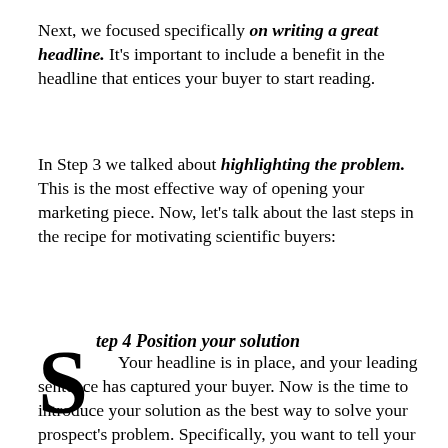Next, we focused specifically on writing a great headline. It's important to include a benefit in the headline that entices your buyer to start reading.
In Step 3 we talked about highlighting the problem. This is the most effective way of opening your marketing piece. Now, let's talk about the last steps in the recipe for motivating scientific buyers:
tep 4 Position your solution
Your headline is in place, and your leading sentence has captured your buyer. Now is the time to introduce your solution as the best way to solve your prospect's problem. Specifically, you want to tell your readers what your solution is, how it works, the